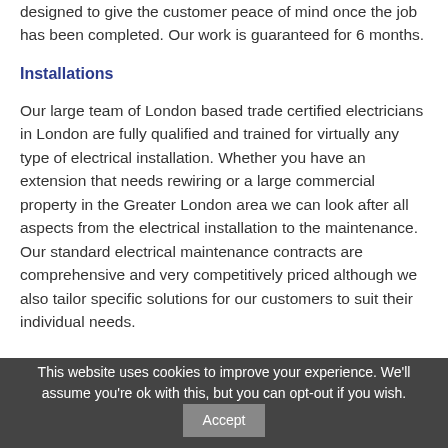designed to give the customer peace of mind once the job has been completed. Our work is guaranteed for 6 months.
Installations
Our large team of London based trade certified electricians in London are fully qualified and trained for virtually any type of electrical installation. Whether you have an extension that needs rewiring or a large commercial property in the Greater London area we can look after all aspects from the electrical installation to the maintenance. Our standard electrical maintenance contracts are comprehensive and very competitively priced although we also tailor specific solutions for our customers to suit their individual needs.
This website uses cookies to improve your experience. We'll assume you're ok with this, but you can opt-out if you wish.